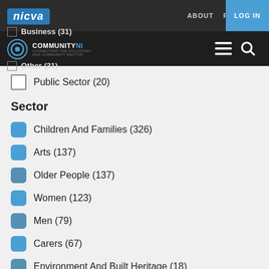NICVA | CommunityNI | ABOUT  REGISTER  LOG IN
Business (31)
Other (31)
Public Sector (20)
Sector
Children And Families (326)
Arts (137)
Older People (137)
Women (123)
Men (79)
Carers (67)
Environment And Built Heritage (18)